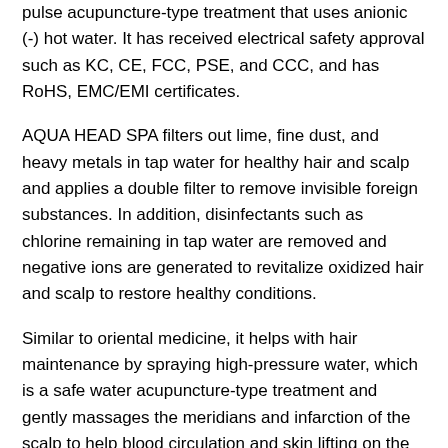pulse acupuncture-type treatment that uses anionic (-) hot water. It has received electrical safety approval such as KC, CE, FCC, PSE, and CCC, and has RoHS, EMC/EMI certificates.
AQUA HEAD SPA filters out lime, fine dust, and heavy metals in tap water for healthy hair and scalp and applies a double filter to remove invisible foreign substances. In addition, disinfectants such as chlorine remaining in tap water are removed and negative ions are generated to revitalize oxidized hair and scalp to restore healthy conditions.
Similar to oriental medicine, it helps with hair maintenance by spraying high-pressure water, which is a safe water acupuncture-type treatment and gently massages the meridians and infarction of the scalp to help blood circulation and skin lifting on the face. Automatic heating provides hot water optimized for hair and scalp management, and removes pigments, heavy metals, fine dust, and dandruff.